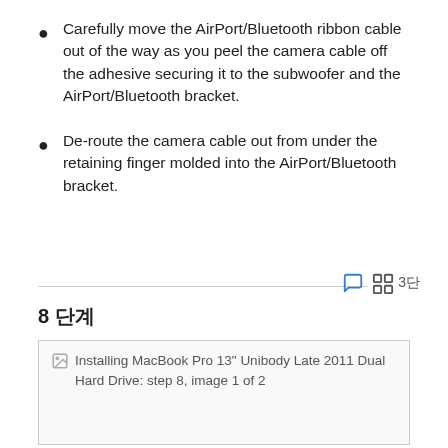Carefully move the AirPort/Bluetooth ribbon cable out of the way as you peel the camera cable off the adhesive securing it to the subwoofer and the AirPort/Bluetooth bracket.
De-route the camera cable out from under the retaining finger molded into the AirPort/Bluetooth bracket.
8 단계
[Figure (photo): Installing MacBook Pro 13" Unibody Late 2011 Dual Hard Drive: step 8, image 1 of 2]